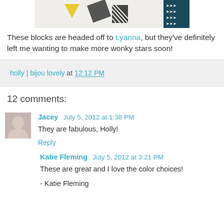[Figure (photo): Partial view of quilt blocks with geometric patterns in yellow, grey and navy/teal on white fabric]
These blocks are headed off to Lyanna, but they've definitely left me wanting to make more wonky stars soon!
holly | bijou lovely at 12:12 PM
12 comments:
Jacey July 5, 2012 at 1:38 PM
They are fabulous, Holly!
Reply
Katie Fleming July 5, 2012 at 3:21 PM
These are great and I love the color choices!

- Katie Fleming